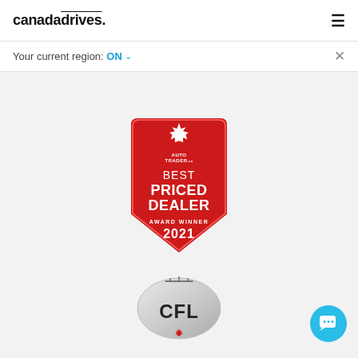canadadrives.
Your current region: ON ✓
TrustScore 4.4
3,345 reviews
[Figure (logo): AutoTrader.ca Best Priced Dealer Award Winner 2021 badge — red shield shape with maple leaf on top, white text reading BEST PRICED DEALER, AWARD WINNER 2021]
[Figure (logo): CFL (Canadian Football League) logo — silver football shape with CFL lettering and small maple leaf at bottom]